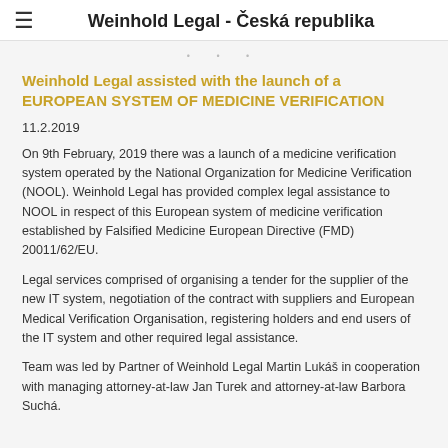Weinhold Legal - Česká republika
Weinhold Legal assisted with the launch of a EUROPEAN SYSTEM OF MEDICINE VERIFICATION
11.2.2019
On 9th February, 2019 there was a launch of a medicine verification system operated by the National Organization for Medicine Verification (NOOL). Weinhold Legal has provided complex legal assistance to NOOL in respect of this European system of medicine verification established by Falsified Medicine European Directive (FMD) 20011/62/EU.
Legal services comprised of organising a tender for the supplier of the new IT system, negotiation of the contract with suppliers and European Medical Verification Organisation, registering holders and end users of the IT system and other required legal assistance.
Team was led by Partner of Weinhold Legal Martin Lukáš in cooperation with managing attorney-at-law Jan Turek and attorney-at-law Barbora Suchá.